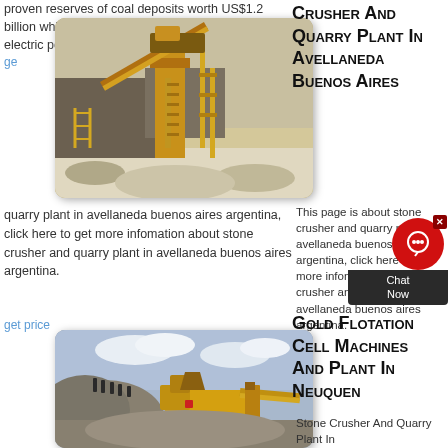proven reserves of coal deposits worth US$1.2 billion which could be used in the generation of electric power...
ge
[Figure (photo): Industrial quarry crusher and conveyor equipment at a mining site with yellow metallic structure]
Crusher And Quarry Plant In Avellaneda Buenos Aires
This page is about stone crusher and quarry plant in avellaneda buenos aires argentina, click here to get more infomation about stone crusher and quarry plant in avellaneda buenos aires argentina.
get price
[Figure (photo): Yellow mobile stone crusher/quarry plant on a gravel site with workers on top of a large gravel pile]
Gold Flotation Cell Machines And Plant In Neuquen
Stone Crusher And Quarry Plant In